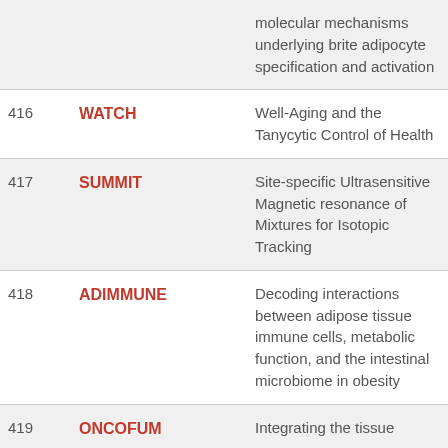| No. | Acronym | Description |
| --- | --- | --- |
|  |  | molecular mechanisms underlying brite adipocyte specification and activation |
| 416 | WATCH | Well-Aging and the Tanycytic Control of Health |
| 417 | SUMMIT | Site-specific Ultrasensitive Magnetic resonance of Mixtures for Isotopic Tracking |
| 418 | ADIMMUNE | Decoding interactions between adipose tissue immune cells, metabolic function, and the intestinal microbiome in obesity |
| 419 | ONCOFUM | Integrating the tissue... |